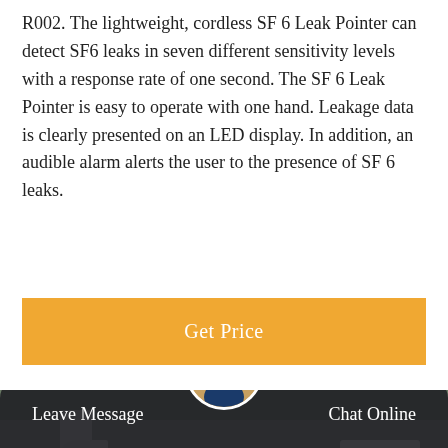R002. The lightweight, cordless SF 6 Leak Pointer can detect SF6 leaks in seven different sensitivity levels with a response rate of one second. The SF 6 Leak Pointer is easy to operate with one hand. Leakage data is clearly presented on an LED display. In addition, an audible alarm alerts the user to the presence of SF 6 leaks.
[Figure (other): Orange 'Get Price' button / call-to-action banner]
[Figure (photo): Industrial machinery in a warehouse or factory setting, showing large white mechanical equipment with pipes and components. A white cabinet structure is visible on the right side.]
Leave Message   Chat Online